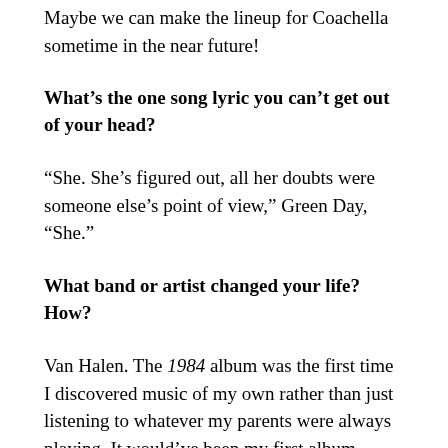Maybe we can make the lineup for Coachella sometime in the near future!
What’s the one song lyric you can’t get out of your head?
“She. She’s figured out, all her doubts were someone else’s point of view,” Green Day, “She.”
What band or artist changed your life? How?
Van Halen. The 1984 album was the first time I discovered music of my own rather than just listening to whatever my parents were always playing. It would’ve been my first album purchase, but my brother had already bought it